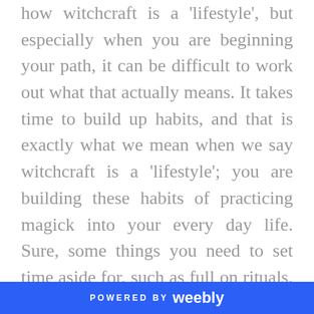how witchcraft is a 'lifestyle', but especially when you are beginning your path, it can be difficult to work out what that actually means. It takes time to build up habits, and that is exactly what we mean when we say witchcraft is a 'lifestyle'; you are building these habits of practicing magick into your every day life. Sure, some things you need to set time aside for, such as full on rituals, but we strive to entwine magick with the mundane on a physical level.
As such, my whole house is my altar. I keep a bottle of quartz water in the bathroom
POWERED BY weebly